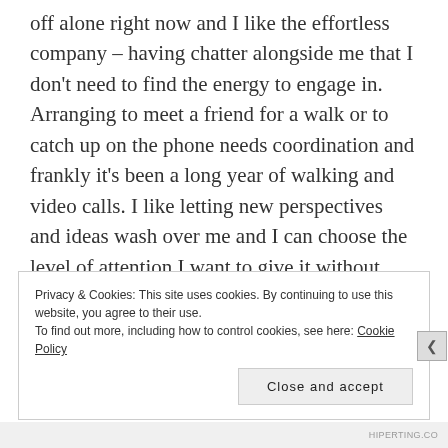off alone right now and I like the effortless company – having chatter alongside me that I don't need to find the energy to engage in. Arranging to meet a friend for a walk or to catch up on the phone needs coordination and frankly it's been a long year of walking and video calls. I like letting new perspectives and ideas wash over me and I can choose the level of attention I want to give it without worrying about appearing rude.
Privacy & Cookies: This site uses cookies. By continuing to use this website, you agree to their use.
To find out more, including how to control cookies, see here: Cookie Policy
Close and accept
HIPERTING.CO